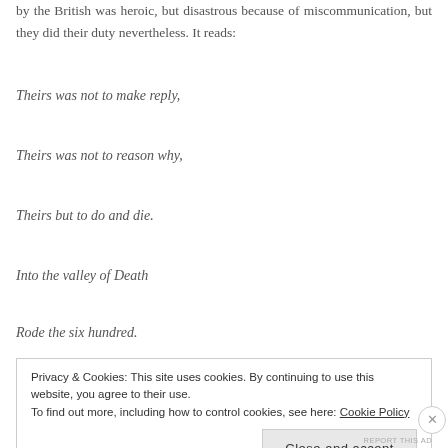by the British was heroic, but disastrous because of miscommunication, but they did their duty nevertheless. It reads:
Theirs was not to make reply,
Theirs was not to reason why,
Theirs but to do and die.
Into the valley of Death
Rode the six hundred.
Privacy & Cookies: This site uses cookies. By continuing to use this website, you agree to their use. To find out more, including how to control cookies, see here: Cookie Policy
Close and accept
REPORT THIS AD